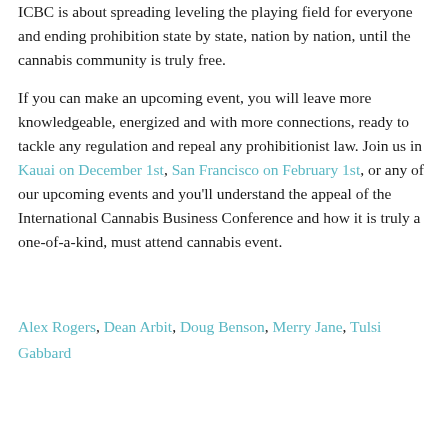ICBC is about spreading leveling the playing field for everyone and ending prohibition state by state, nation by nation, until the cannabis community is truly free.
If you can make an upcoming event, you will leave more knowledgeable, energized and with more connections, ready to tackle any regulation and repeal any prohibitionist law. Join us in Kauai on December 1st, San Francisco on February 1st, or any of our upcoming events and you'll understand the appeal of the International Cannabis Business Conference and how it is truly a one-of-a-kind, must attend cannabis event.
Alex Rogers, Dean Arbit, Doug Benson, Merry Jane, Tulsi Gabbard